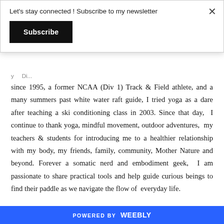Let's stay connected ! Subscribe to my newsletter
Subscribe
since 1995, a former NCAA (Div 1) Track & Field athlete, and a many summers past white water raft guide, I tried yoga as a dare after teaching a ski conditioning class in 2003. Since that day, I continue to thank yoga, mindful movement, outdoor adventures, my teachers & students for introducing me to a healthier relationship with my body, my friends, family, community, Mother Nature and beyond. Forever a somatic nerd and embodiment geek, I am passionate to share practical tools and help guide curious beings to find their paddle as we navigate the flow of everyday life.
POWERED BY weebly